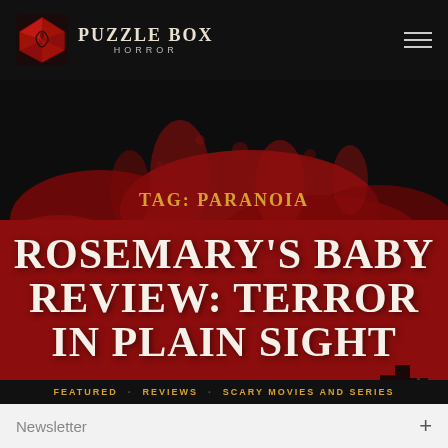PUZZLE BOX HORROR
TAG: PARANOIA
ROSEMARY'S BABY REVIEW: TERROR IN PLAIN SIGHT
FEATURED  REVIEWS  SCARY MOVIES AND SERIES
Newsletter